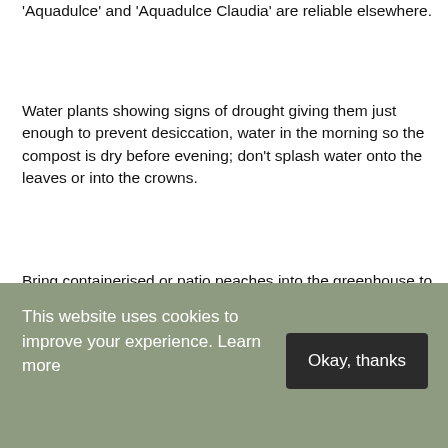'Aquadulce' and 'Aquadulce Claudia' are reliable elsewhere.
Water plants showing signs of drought giving them just enough to prevent desiccation, water in the morning so the compost is dry before evening; don't splash water onto the leaves or into the crowns.
Bring containerised or patio peaches into the greenhouse to prevent problems with 'Peach Leaf Curl' which shows as red pustules on the leaves and can defoliate plants. The disease is caused by a fungal
This website uses cookies to improve your experience. Learn more
Okay, thanks